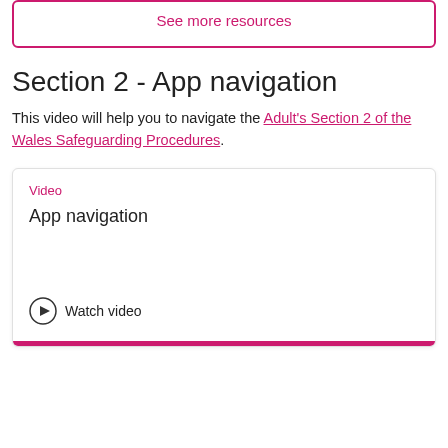See more resources
Section 2 - App navigation
This video will help you to navigate the Adult's Section 2 of the Wales Safeguarding Procedures.
Video
App navigation
Watch video